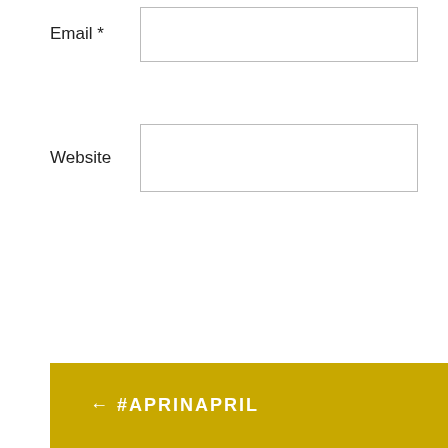Email *
Website
POST COMMENT
Notify me of new comments via email.
Notify me of new posts via email.
← #APRINAPRIL